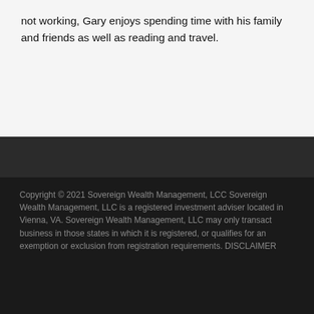not working, Gary enjoys spending time with his family and friends as well as reading and travel.
Copyright © 2021 Sovereign Wealth Management, LCC Sovereign Wealth Management, LLC is a registered investment adviser located in Vienna, VA. Sovereign Wealth Management, LLC may only transact business in those states in which it is registered, or qualifies for an exemption or exclusion from registration requirements. DISCLAIMER